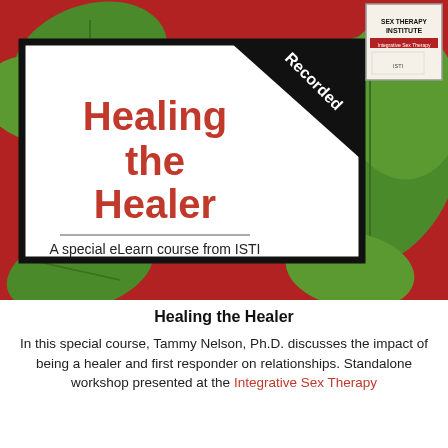[Figure (illustration): Course cover image with red and green leaf background, a white card in the center reading 'Healing the Healer — A special eLearn course from ISTI' with a black 'Recorded' ribbon in the top-right corner, and an ISTI institute badge in the top-right of the image.]
Healing the Healer
In this special course, Tammy Nelson, Ph.D. discusses the impact of being a healer and first responder on relationships. Standalone workshop presented at the Integrative Sex Therapy